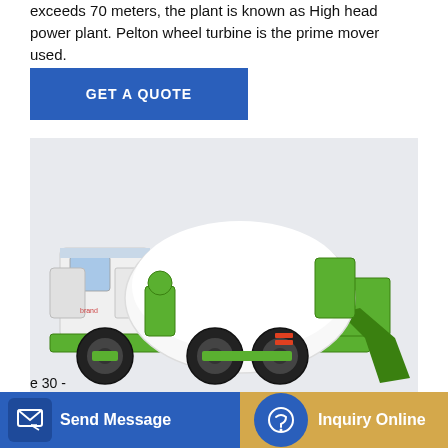exceeds 70 meters, the plant is known as High head power plant. Pelton wheel turbine is the prime mover used.
GET A QUOTE
[Figure (photo): A green and white cement mixer truck (concrete mixer) on a light grey background.]
CHAPTER 3 WATER SUPPLY SYSTEM
Send Message
Inquiry Online
seconds The proposed improvements to the existing facilities